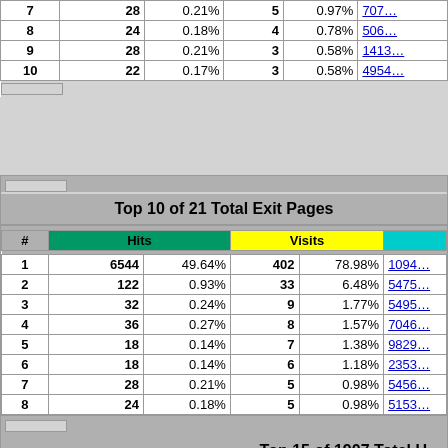| # | Hits | % | Visits | % | URL |
| --- | --- | --- | --- | --- | --- |
| 7 | 28 | 0.21% | 5 | 0.97% | 707... |
| 8 | 24 | 0.18% | 4 | 0.78% | 506... |
| 9 | 28 | 0.21% | 3 | 0.58% | 1413... |
| 10 | 22 | 0.17% | 3 | 0.58% | 4954... |
| # | Hits | % | Visits | % | URL |
| --- | --- | --- | --- | --- | --- |
| 1 | 6544 | 49.64% | 402 | 78.98% | 1094... |
| 2 | 122 | 0.93% | 33 | 6.48% | 5475... |
| 3 | 32 | 0.24% | 9 | 1.77% | 5495... |
| 4 | 36 | 0.27% | 8 | 1.57% | 7046... |
| 5 | 18 | 0.14% | 7 | 1.38% | 9829... |
| 6 | 18 | 0.14% | 6 | 1.18% | 2353... |
| 7 | 28 | 0.21% | 5 | 0.98% | 5456... |
| 8 | 24 | 0.18% | 5 | 0.98% | 5153... |
| 9 | 28 | 0.21% | 5 | 0.98% | 8084... |
| 10 | 28 | 0.21% | 4 | 0.79% | 6895... |
| # | Hits | User... |
| --- | --- | --- |